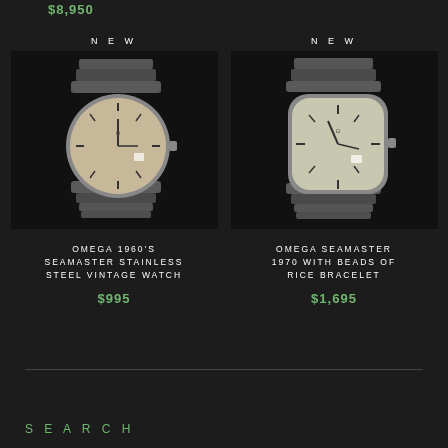$8,950
NEW
[Figure (photo): Omega 1960s Seamaster stainless steel vintage watch with metal bracelet on dark background]
OMEGA 1960'S SEAMASTER STAINLESS STEEL VINTAGE WATCH
$995
NEW
[Figure (photo): Omega Seamaster 1970 with beads of rice bracelet on dark background]
OMEGA SEAMASTER 1970 WITH BEADS OF RICE BRACELET
$1,695
SEARCH